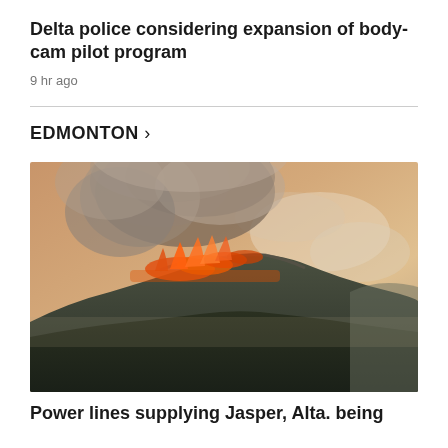Delta police considering expansion of body-cam pilot program
9 hr ago
EDMONTON >
[Figure (photo): Aerial photo of a wildfire burning on a mountainside. Flames and thick orange and grey smoke billow from the forested ridge. The mountain slopes are covered in dark green trees with rocky outcrops visible. The sky is hazy orange and pale blue from the smoke.]
Power lines supplying Jasper, Alta. being